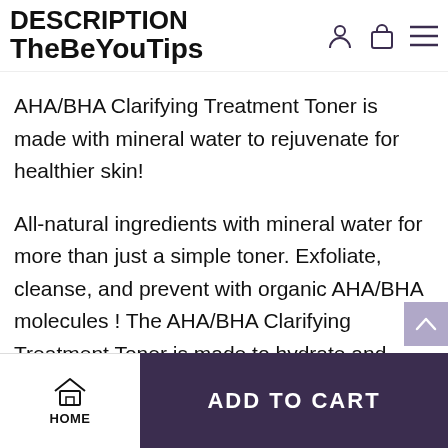DESCRIPTION
TheBeYouTips
AHA/BHA Clarifying Treatment Toner is made with mineral water to rejuvenate for healthier skin!
All-natural ingredients with mineral water for more than just a simple toner. Exfoliate, cleanse, and prevent with organic AHA/BHA molecules ! The AHA/BHA Clarifying Treatment Toner is made to hydrate and rejuvinate the skin while preventing whiteheads, blackheads, and blemishes for the
HOME | ADD TO CART